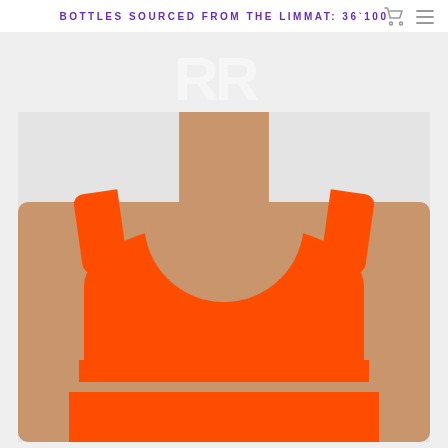BOTTLES SOURCED FROM THE LIMMAT: 36`100
[Figure (photo): Model wearing a bright orange/neon coral swimwear bra top and matching orange bottoms, photographed from neck to lower torso against a light grey background. The brand logo appears watermarked in the upper-center of the product image area.]